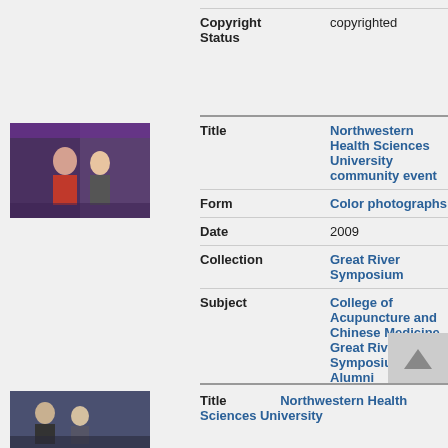| Field | Value |
| --- | --- |
| Copyright Status | copyrighted |
[Figure (photo): Thumbnail photo of people at a community event, Northwestern Health Sciences University]
| Field | Value |
| --- | --- |
| Title | Northwestern Health Sciences University community event |
| Form | Color photographs |
| Date | 2009 |
| Collection | Great River Symposium |
| Subject | College of Acupuncture and Chinese Medicine, Great River Symposium, Alumni |
| Description | Northwestern Health Sciences University's College of Acupuncture and Chinese Medicine alum Deleon Best with an unidentified woman at the 2009 Great River Symposium. |
| Copyright Status | copyrighted |
[Figure (photo): Thumbnail photo of people at Northwestern Health Sciences University event]
Title   Northwestern Health Sciences University